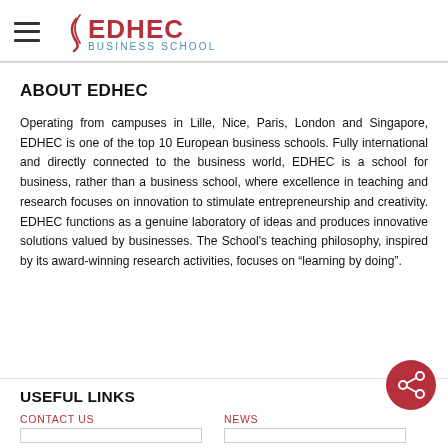EDHEC BUSINESS SCHOOL
ABOUT EDHEC
Operating from campuses in Lille, Nice, Paris, London and Singapore, EDHEC is one of the top 10 European business schools. Fully international and directly connected to the business world, EDHEC is a school for business, rather than a business school, where excellence in teaching and research focuses on innovation to stimulate entrepreneurship and creativity. EDHEC functions as a genuine laboratory of ideas and produces innovative solutions valued by businesses. The School's teaching philosophy, inspired by its award-winning research activities, focuses on “learning by doing”.
USEFUL LINKS
CONTACT US
NEWS